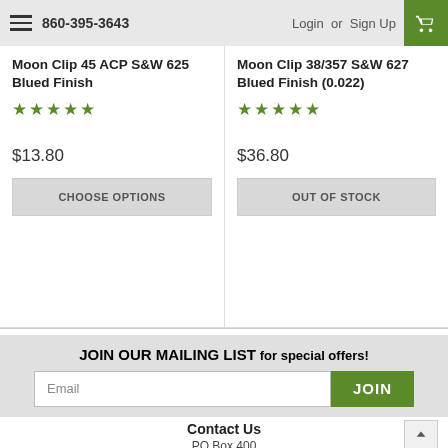860-395-3643  Login or Sign Up
Moon Clip 45 ACP S&W 625 Blued Finish
★★★★★
$13.80
CHOOSE OPTIONS
Moon Clip 38/357 S&W 627 Blued Finish (0.022)
★★★★★
$36.80
OUT OF STOCK
JOIN OUR MAILING LIST for special offers!
Email JOIN
Contact Us
PO Box 400
Mimbres, NM 88049
United States of America